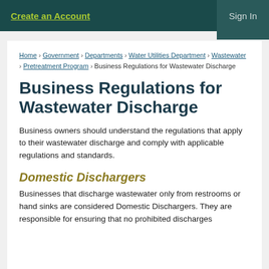Create an Account   Sign In
Home › Government › Departments › Water Utilities Department › Wastewater › Pretreatment Program › Business Regulations for Wastewater Discharge
Business Regulations for Wastewater Discharge
Business owners should understand the regulations that apply to their wastewater discharge and comply with applicable regulations and standards.
Domestic Dischargers
Businesses that discharge wastewater only from restrooms or hand sinks are considered Domestic Dischargers. They are responsible for ensuring that no prohibited discharges